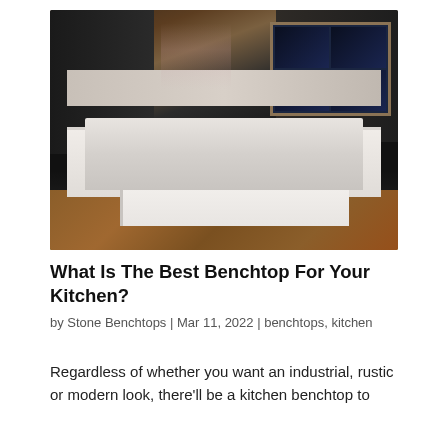[Figure (photo): Kitchen interior photo showing dark-painted cabinets with white/marble countertops, two kitchen islands, cherry blossom floral arrangement, large windows at night, wood flooring, and a blue cloth on the foreground island countertop.]
What Is The Best Benchtop For Your Kitchen?
by Stone Benchtops | Mar 11, 2022 | benchtops, kitchen
Regardless of whether you want an industrial, rustic or modern look, there'll be a kitchen benchtop to